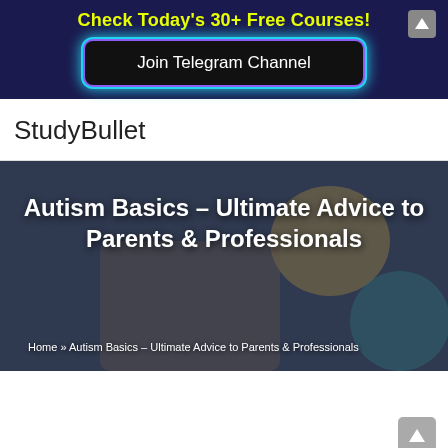Check Today's 30+ Free Courses!
Join Telegram Channel
StudyBullet
[Figure (photo): Hero image of a child playing with toys, overlaid with illustrated characters, serving as page banner for the Autism Basics course page]
Autism Basics – Ultimate Advice to Parents & Professionals
Home » Autism Basics – Ultimate Advice to Parents & Professionals